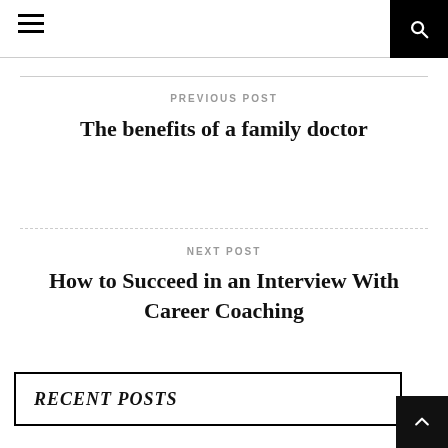Navigation bar with hamburger menu and search icon
PREVIOUS POST
The benefits of a family doctor
NEXT POST
How to Succeed in an Interview With Career Coaching
RECENT POSTS